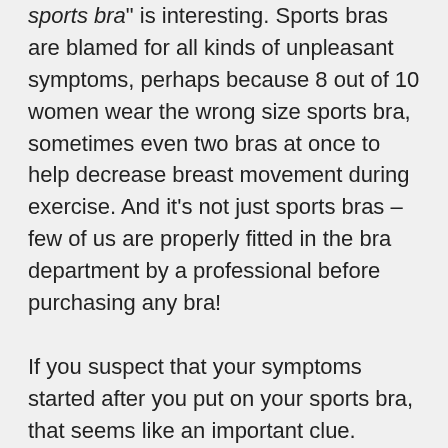sports bra" is interesting. Sports bras are blamed for all kinds of unpleasant symptoms, perhaps because 8 out of 10 women wear the wrong size sports bra, sometimes even two bras at once to help decrease breast movement during exercise. And it's not just sports bras – few of us are properly fitted in the bra department by a professional before purchasing any bra!
If you suspect that your symptoms started after you put on your sports bra, that seems like an important clue.
If I were you, I'd try keeping track to see if there's a correlation between your sports